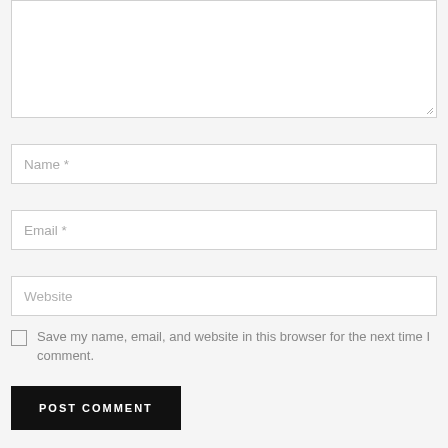[Figure (screenshot): Textarea input box, large, empty with resize handle at bottom right]
Name *
Email *
Website
Save my name, email, and website in this browser for the next time I comment.
POST COMMENT